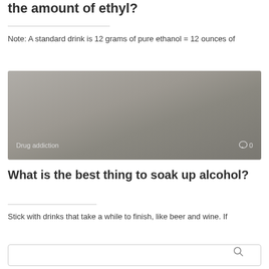the amount of ethyl?
Note: A standard drink is 12 grams of pure ethanol = 12 ounces of
[Figure (photo): Gray gradient image with 'Drug addiction' label at bottom left and comment icon with '0' at bottom right]
What is the best thing to soak up alcohol?
Stick with drinks that take a while to finish, like beer and wine. If